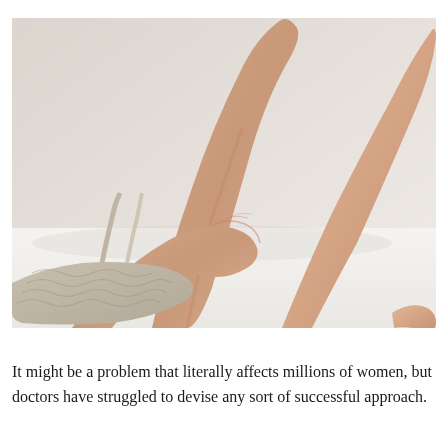[Figure (photo): A woman lying on a white surface, wearing a light knit/textured top, with her bare legs raised. One hand touches her leg/thigh area. The background is a light neutral/grey-white. The image appears to be related to a medical or health article about a women's health issue.]
It might be a problem that literally affects millions of women, but doctors have struggled to devise any sort of successful approach.